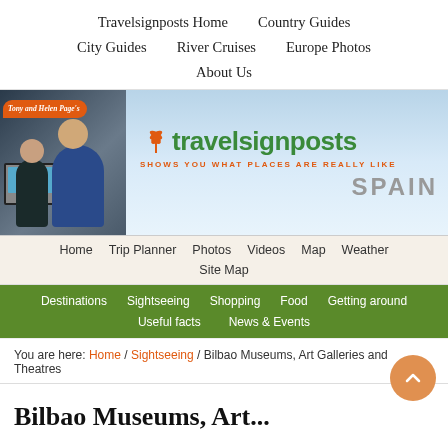Travelsignposts Home   Country Guides   City Guides   River Cruises   Europe Photos   About Us
[Figure (screenshot): Travelsignposts Spain website banner with Tony and Helen Page photo on left and green travelsignposts logo on right with orange tagline and SPAIN text]
Home   Trip Planner   Photos   Videos   Map   Weather   Site Map
Destinations   Sightseeing   Shopping   Food   Getting around   Useful facts   News & Events
You are here: Home / Sightseeing / Bilbao Museums, Art Galleries and Theatres
Bilbao Museums, Art...